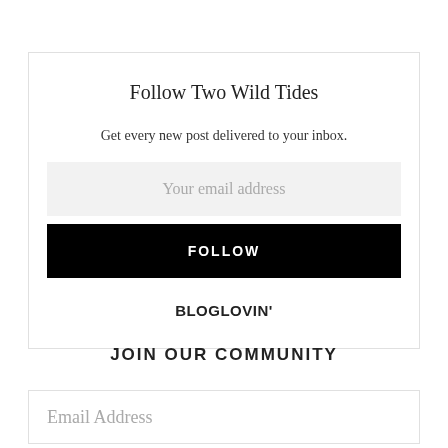Follow Two Wild Tides
Get every new post delivered to your inbox.
Your email address
FOLLOW
BLOGLOVIN'
JOIN OUR COMMUNITY
Email Address